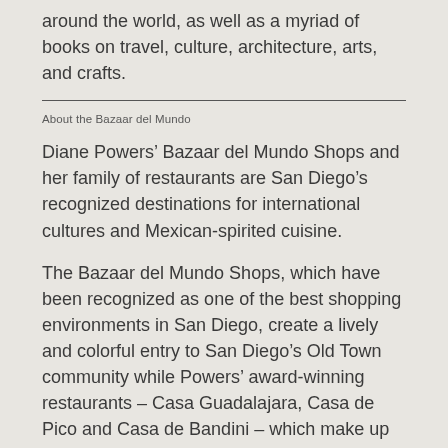around the world, as well as a myriad of books on travel, culture, architecture, arts, and crafts.
About the Bazaar del Mundo
Diane Powers’ Bazaar del Mundo Shops and her family of restaurants are San Diego’s recognized destinations for international cultures and Mexican-spirited cuisine.
The Bazaar del Mundo Shops, which have been recognized as one of the best shopping environments in San Diego, create a lively and colorful entry to San Diego’s Old Town community while Powers’ award-winning restaurants – Casa Guadalajara, Casa de Pico and Casa de Bandini – which make up the Bazaar del Mundo Restaurant Group, provide authentic Mexican flavor and ambience throughout San Diego County.